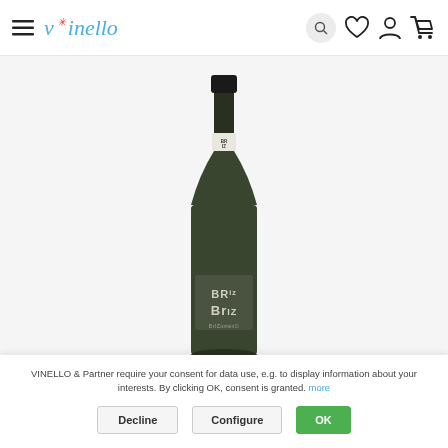vinello — hamburger menu, search, wishlist, account, cart icons
VINELLO / Wine Countries / Italian Wine / Friuli Venezia ...
% SALE
[Figure (photo): A dark green sparkling wine bottle with a black capsule and a white label reading BRiz BrIZ]
VINELLO & Partner require your consent for data use, e.g. to display information about your interests. By clicking OK, consent is granted. more
Decline   Configure   OK